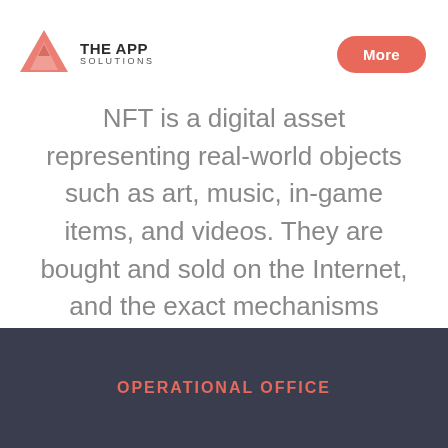[Figure (logo): The App Solutions logo with red triangle icon and company name]
NFT is a digital asset representing real-world objects such as art, music, in-game items, and videos. They are bought and sold on the Internet, and the exact mechanisms usually encode them as many cryptocurrencies.
OPERATIONAL OFFICE